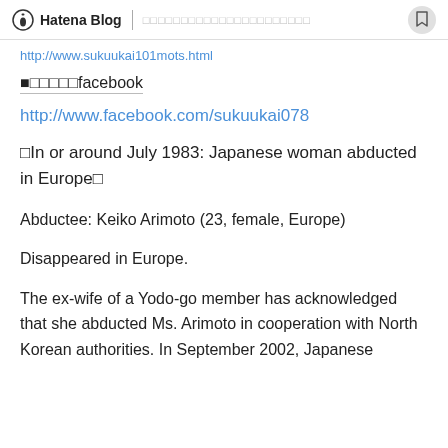Hatena Blog | □□□□□□□□□□□□□□□□□□□□□□
http://www.sukuukai101mots.html
■□□□□□facebook
http://www.facebook.com/sukuukai078
□In or around July 1983: Japanese woman abducted in Europe□
Abductee: Keiko Arimoto (23, female, Europe)
Disappeared in Europe.
The ex-wife of a Yodo-go member has acknowledged that she abducted Ms. Arimoto in cooperation with North Korean authorities. In September 2002, Japanese